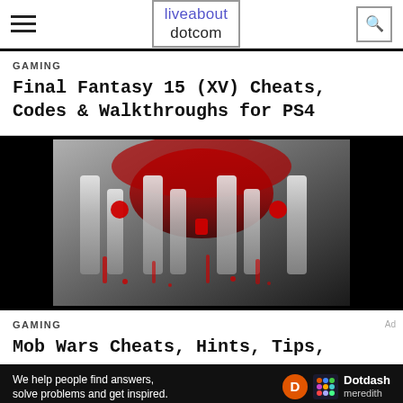liveabout dotcom
GAMING
Final Fantasy 15 (XV) Cheats, Codes & Walkthroughs for PS4
[Figure (photo): Mob Wars game logo image with metallic silver and red letters on dark background]
GAMING
Mob Wars Cheats, Hints, Tips,
[Figure (logo): Dotdash Meredith ad banner: We help people find answers, solve problems and get inspired.]